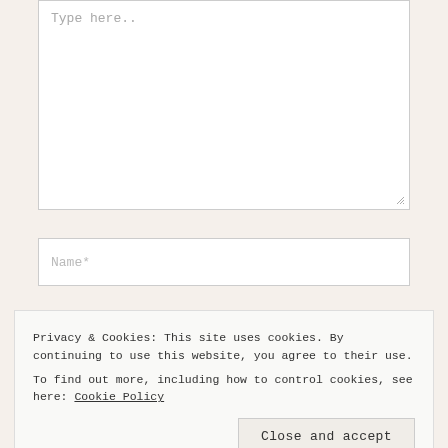Type here..
Name*
Privacy & Cookies: This site uses cookies. By continuing to use this website, you agree to their use.
To find out more, including how to control cookies, see here: Cookie Policy
Close and accept